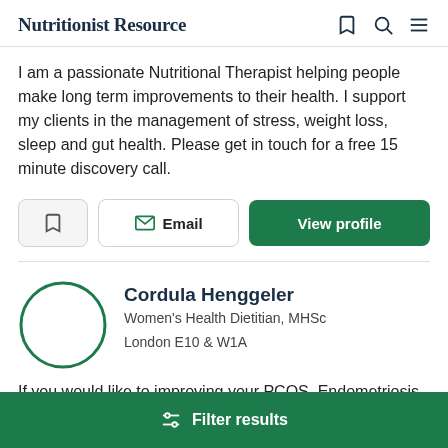Nutritionist Resource
I am a passionate Nutritional Therapist helping people make long term improvements to their health. I support my clients in the management of stress, weight loss, sleep and gut health. Please get in touch for a free 15 minute discovery call.
Cordula Henggeler
Women's Health Dietitian, MHSc
London E10 & W1A
If you would like to improving your PCOS, Endometriosis or
Filter results